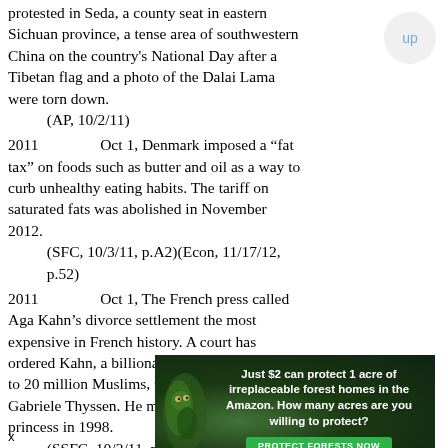protested in Seda, a county seat in eastern Sichuan province, a tense area of southwestern China on the country's National Day after a Tibetan flag and a photo of the Dalai Lama were torn down.
    (AP, 10/2/11)
2011       Oct 1, Denmark imposed a “fat tax” on foods such as butter and oil as a way to curb unhealthy eating habits. The tariff on saturated fats was abolished in November 2012.
    (SFC, 10/3/11, p.A2)(Econ, 11/17/12, p.52)
2011       Oct 1, The French press called Aga Kahn’s divorce settlement the most expensive in French history. A court has ordered Kahn, a billionaire and spiritual leader to 20 million Muslims, to pay $80 million to Gabriele Thyssen. He married the German princess in 1998.
    (SSFC, 10/2/11, p.A4)
2011       Oct 1, Guyana’s Pres. Bharrat Jagdeo
[Figure (infographic): Advertisement banner with dark forest background. Text reads: 'Just $2 can protect 1 acre of irreplaceable forest homes in the Amazon. How many acres are you willing to protect?' with a green 'PROTECT FORESTS NOW' button.]
x